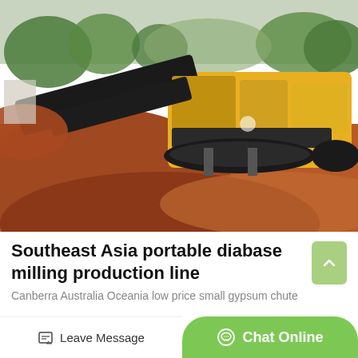[Figure (photo): A large yellow portable crushing/milling machine (industrial mobile impact crusher on tracks) operating at a construction or mining site in Southeast Asia. Red-brown soil/gravel piles surround the machine, with tropical trees and hills visible in the background under an overcast sky.]
Southeast Asia portable diabase milling production line
Canberra Australia Oceania low price small gypsum chute
Leave Message
Chat Online